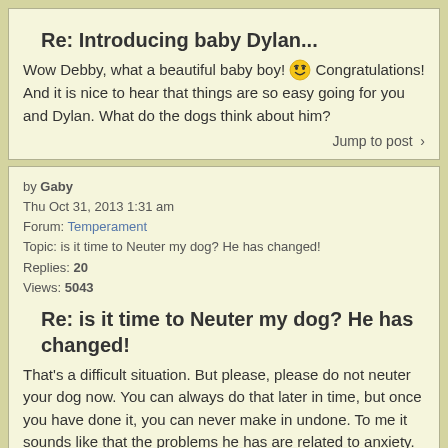Re: Introducing baby Dylan...
Wow Debby, what a beautiful baby boy! 😁 Congratulations! And it is nice to hear that things are so easy going for you and Dylan. What do the dogs think about him?
Jump to post >
by Gaby
Thu Oct 31, 2013 1:31 am
Forum: Temperament
Topic: is it time to Neuter my dog? He has changed!
Replies: 20
Views: 5043
Re: is it time to Neuter my dog? He has changed!
That's a difficult situation. But please, please do not neuter your dog now. You can always do that later in time, but once you have done it, you can never make in undone. To me it sounds like that the problems he has are related to anxiety. Remove the testicles and you remove the biggest source of ...
Jump to post >
by Gaby
Thu Oct 31, 2013 12:41 am
Forum: Other Pets
Topic: Ylva van 't Aelse Sluske
Replies: 53